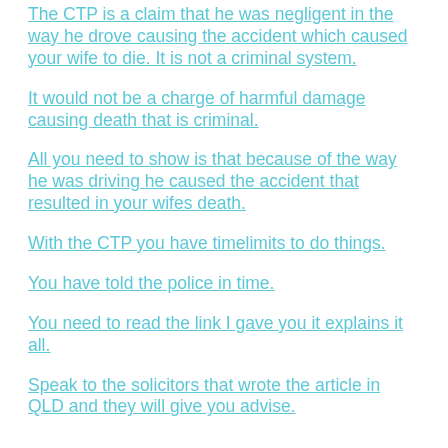The CTP is a claim that he was negligent in the way he drove causing the accident which caused your wife to die. It is not a criminal system.
It would not be a charge of harmful damage causing death that is criminal.
All you need to show is that because of the way he was driving he caused the accident that resulted in your wifes death.
With the CTP you have timelimits to do things.
You have told the police in time.
You need to read the link I gave you it explains it all.
Speak to the solicitors that wrote the article in QLD and they will give you advise.